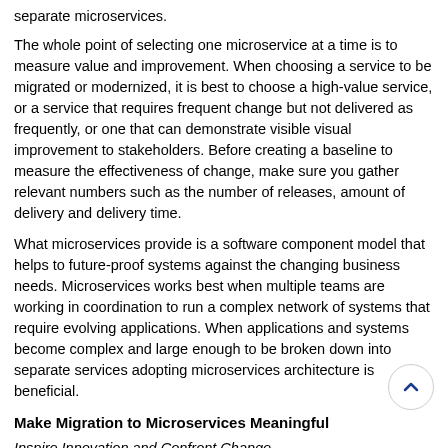separate microservices.
The whole point of selecting one microservice at a time is to measure value and improvement. When choosing a service to be migrated or modernized, it is best to choose a high-value service, or a service that requires frequent change but not delivered as frequently, or one that can demonstrate visible visual improvement to stakeholders. Before creating a baseline to measure the effectiveness of change, make sure you gather relevant numbers such as the number of releases, amount of delivery and delivery time.
What microservices provide is a software component model that helps to future-proof systems against the changing business needs. Microservices works best when multiple teams are working in coordination to run a complex network of systems that require evolving applications. When applications and systems become complex and large enough to be broken down into separate services adopting microservices architecture is beneficial.
Make Migration to Microservices Meaningful
Inspire Innovation and Confront Change
Monolithic legacy systems cannot be transformed overnight. To